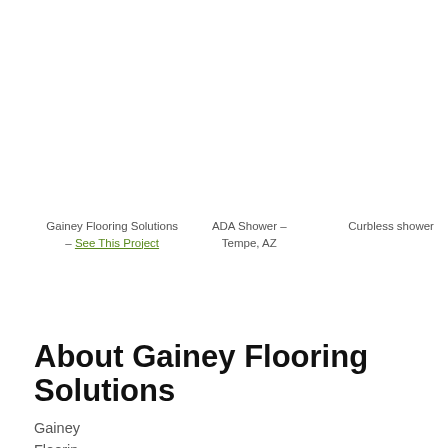Gainey Flooring Solutions – See This Project
ADA Shower – Tempe, AZ
Curbless shower
About Gainey Flooring Solutions
Gainey Floorin